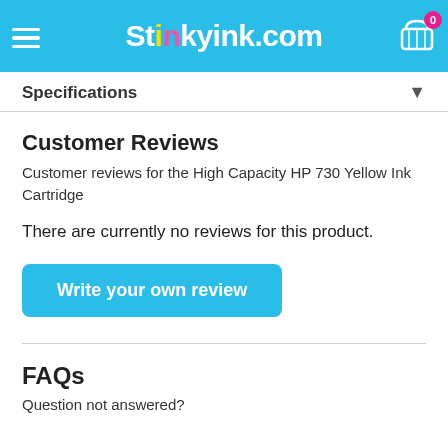Stinkyink.com
Specifications
Customer Reviews
Customer reviews for the High Capacity HP 730 Yellow Ink Cartridge
There are currently no reviews for this product.
Write your own review
FAQs
Question not answered?